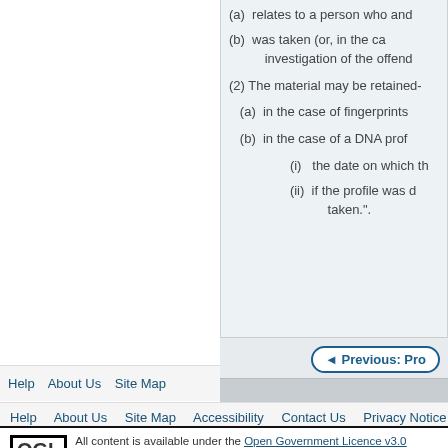(a) relates to a person who and
(b) was taken (or, in the ca... investigation of the offend...
(2) The material may be retained-
(a) in the case of fingerprints
(b) in the case of a DNA prof
(i) the date on which th
(ii) if the profile was d... taken.".
Help   About Us   Site Map   Accessibility   Contact Us   Privacy Notice
All content is available under the Open Government Licence v3.0 except where o... from EUR-Lex, reused under the terms of the Commission Decision 2011/833/EU on the reus... see the EUR-Lex public statement on re-use.